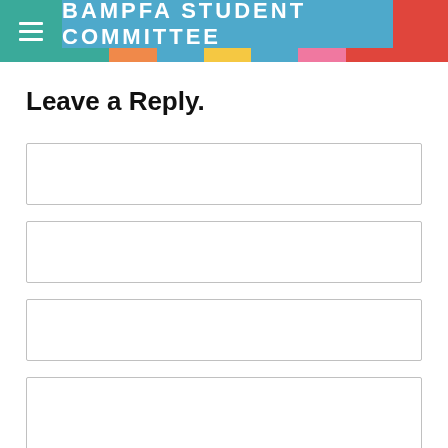BAMPFA STUDENT COMMITTEE
Leave a Reply.